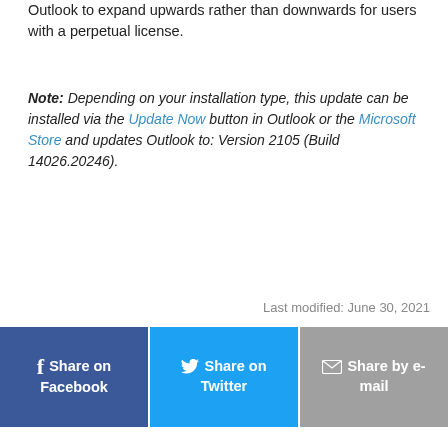Outlook to expand upwards rather than downwards for users with a perpetual license.
Note: Depending on your installation type, this update can be installed via the Update Now button in Outlook or the Microsoft Store and updates Outlook to: Version 2105 (Build 14026.20246).
Last modified: June 30, 2021
[Figure (infographic): Social share buttons: Share on Facebook (blue), Share on Twitter (light blue), Share by e-mail (grey)]